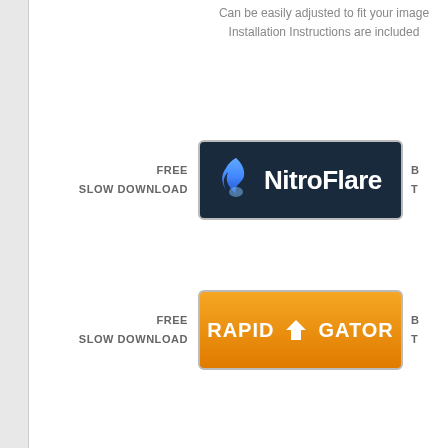Can be easily adjusted to fit your image
Installation Instructions are included
FREE
SLOW DOWNLOAD
[Figure (logo): NitroFlare download button with flame icon on dark navy background]
FREE
SLOW DOWNLOAD
[Figure (logo): RapidGator download button with orange background and download arrow icon]